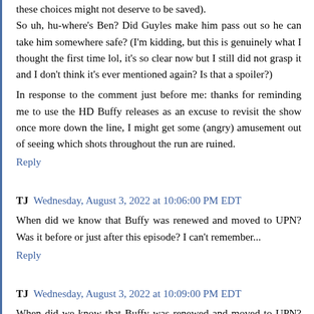these choices might not deserve to be saved). So uh, hu-where's Ben? Did Guyles make him pass out so he can take him somewhere safe? (I'm kidding, but this is genuinely what I thought the first time lol, it's so clear now but I still did not grasp it and I don't think it's ever mentioned again? Is that a spoiler?)
In response to the comment just before me: thanks for reminding me to use the HD Buffy releases as an excuse to revisit the show once more down the line, I might get some (angry) amusement out of seeing which shots throughout the run are ruined.
Reply
TJ  Wednesday, August 3, 2022 at 10:06:00 PM EDT
When did we know that Buffy was renewed and moved to UPN? Was it before or just after this episode? I can't remember...
Reply
TJ  Wednesday, August 3, 2022 at 10:09:00 PM EDT
When did we know that Buffy was renewed and moved to UPN? Was it before or just after this episode. I can't remember.
Reply